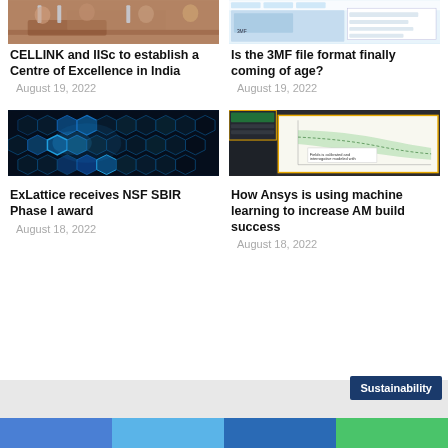[Figure (photo): People sitting around a conference table with water bottles — CELLINK and IISc meeting]
[Figure (screenshot): Screenshot of software interface related to 3MF file format]
CELLINK and IISc to establish a Centre of Excellence in India
August 19, 2022
Is the 3MF file format finally coming of age?
August 19, 2022
[Figure (photo): Dark hexagonal lattice pattern with blue glowing highlights — abstract tech background]
[Figure (screenshot): Ansys software screenshots showing machine learning simulation charts with green shaded area]
ExLattice receives NSF SBIR Phase I award
August 18, 2022
How Ansys is using machine learning to increase AM build success
August 18, 2022
Sustainability